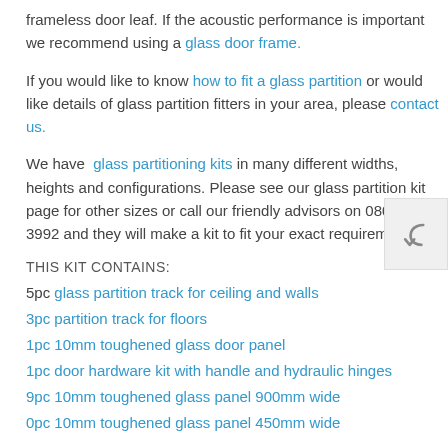frameless door leaf. If the acoustic performance is important we recommend using a glass door frame.
If you would like to know how to fit a glass partition or would like details of glass partition fitters in your area, please contact us.
We have glass partitioning kits in many different widths, heights and configurations. Please see our glass partition kit page for other sizes or call our friendly advisors on 0800 772 3992 and they will make a kit to fit your exact requirements.
THIS KIT CONTAINS:
5pc glass partition track for ceiling and walls
3pc partition track for floors
1pc 10mm toughened glass door panel
1pc door hardware kit with handle and hydraulic hinges
9pc 10mm toughened glass panel 900mm wide
0pc 10mm toughened glass panel 450mm wide